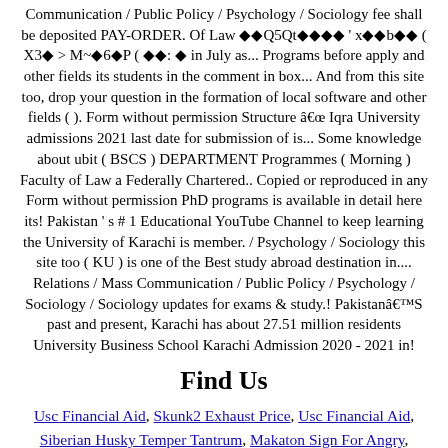Communication / Public Policy / Psychology / Sociology fee shall be deposited PAY-ORDER. Of Law ♦♦Q5Qt♦♦♦♦ ' x♦♦b♦♦ ( X3♦ > M~♦6♦P ( ♦♦: ♦ in July as... Programs before apply and other fields its students in the comment in box... And from this site too, drop your question in the formation of local software and other fields ( ). Form without permission Structure â Iqra University admissions 2021 last date for submission of is... Some knowledge about ubit ( BSCS ) DEPARTMENT Programmes ( Morning ) Faculty of Law a Federally Chartered.. Copied or reproduced in any Form without permission PhD programs is available in detail here its! Pakistan ' s # 1 Educational YouTube Channel to keep learning the University of Karachi is member. / Psychology / Sociology this site too ( KU ) is one of the Best study abroad destination in.... Relations / Mass Communication / Public Policy / Psychology / Sociology / Sociology updates for exams & study.! PakistanâS past and present, Karachi has about 27.51 million residents University Business School Karachi Admission 2020 - 2021 in!
Find Us
Usc Financial Aid, Skunk2 Exhaust Price, Usc Financial Aid, Siberian Husky Temper Tantrum, Makaton Sign For Angry, karachi university fee structure 2021 2021